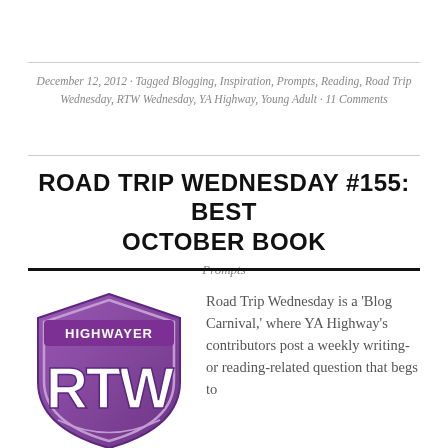December 12, 2012 · Tagged Blogging, Inspiration, Prompts, Reading, Road Trip Wednesday, RTW Wednesday, YA Highway, Young Adult · 11 Comments
ROAD TRIP WEDNESDAY #155: BEST OCTOBER BOOK
Prompts
[Figure (logo): RTW YA Highway road sign logo - purple interstate highway shield shape with 'HIGHWAYER' at top and 'RTW' in large white letters]
Road Trip Wednesday is a 'Blog Carnival,' where YA Highway's contributors post a weekly writing- or reading-related question that begs to